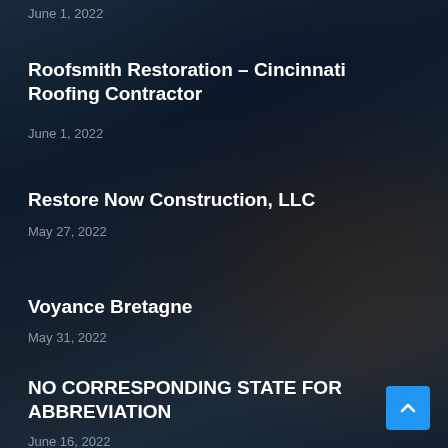June 1, 2022
Roofsmith Restoration – Cincinnati Roofing Contractor
June 1, 2022
Restore Now Construction, LLC
May 27, 2022
Voyance Bretagne
May 31, 2022
NO CORRESPONDING STATE FOR ABBREVIATION
June 16, 2022